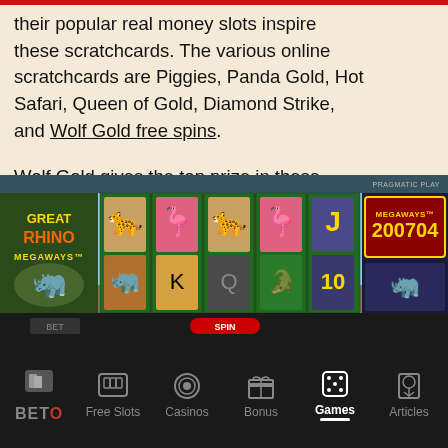their popular real money slots inspire these scratchcards. The various online scratchcards are Piggies, Panda Gold, Hot Safari, Queen of Gold, Diamond Strike, and Wolf Gold free spins.
Wolf Gold gives the top prize in these scratchcards; it provides a fantastic win of 1,000,000 credits. This is a pretty awesome scratch reward, and you would be fortunate to get something like that.
This is truly a revolutionary feature by Pragmatic Play in the world of Online Casinos.
[Figure (screenshot): Screenshot of Great Rhino Megaways slot game showing reels with animal symbols (cheetah, flamingo, rhino), game logo on left, and Megaways counter showing 200704 on right]
BETO | Free Slots | Casinos | Bonus | Games | Articles